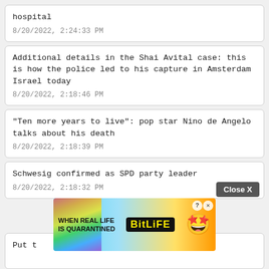hospital
8/20/2022, 2:24:33 PM
Additional details in the Shai Avital case: this is how the police led to his capture in Amsterdam Israel today
8/20/2022, 2:18:46 PM
"Ten more years to live": pop star Nino de Angelo talks about his death
8/20/2022, 2:18:39 PM
Schwesig confirmed as SPD party leader
8/20/2022, 2:18:32 PM
[Figure (screenshot): Close X button overlay and BitLife advertisement banner]
Put t